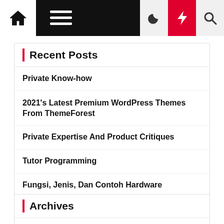Navigation bar with home, menu, moon, bolt, and search icons
Recent Posts
Private Know-how
2021's Latest Premium WordPress Themes From ThemeForest
Private Expertise And Product Critiques
Tutor Programming
Fungsi, Jenis, Dan Contoh Hardware
Archives
August 2022